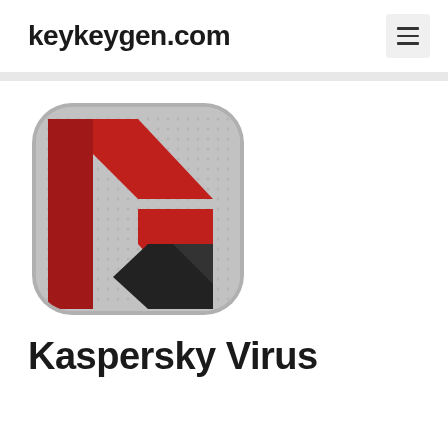keykeygen.com
[Figure (logo): Kaspersky antivirus app icon — a rounded square with metallic dot-pattern background, featuring a large red letter K shape on the top half and a dark/black angular shape on the bottom right, in red, black, and silver colors]
Kaspersky Virus